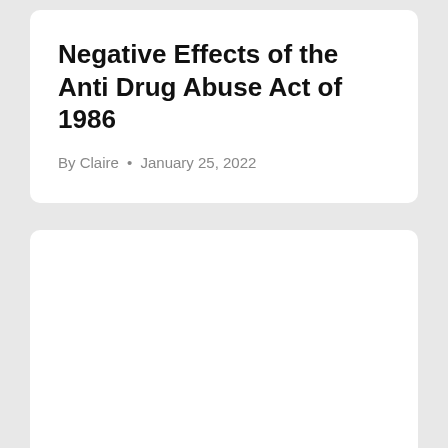Negative Effects of the Anti Drug Abuse Act of 1986
By Claire • January 25, 2022